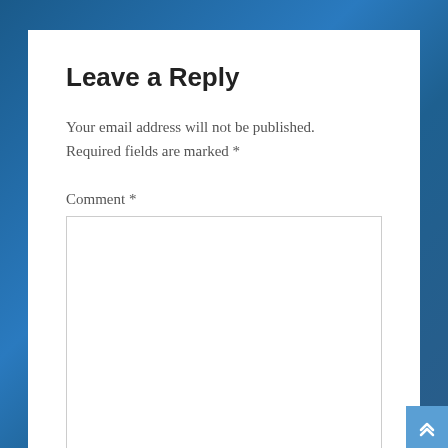Leave a Reply
Your email address will not be published. Required fields are marked *
Comment *